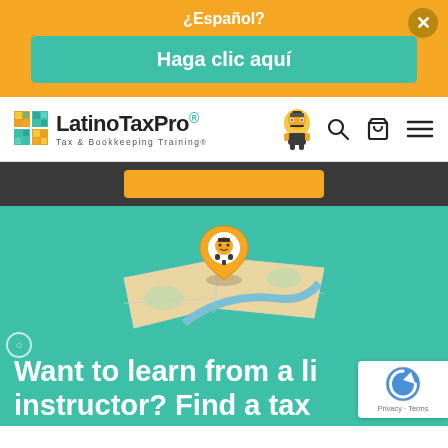¿Español?
Haga clic aquí
[Figure (logo): LatinoTaxPro logo with colorful grid icon, mascot figure, and tagline 'Tax & Bookkeeping Training']
[Figure (illustration): Teal hero banner with map and location pin featuring mascot, text: 'Want to learn from a live instructor? Find a tax']